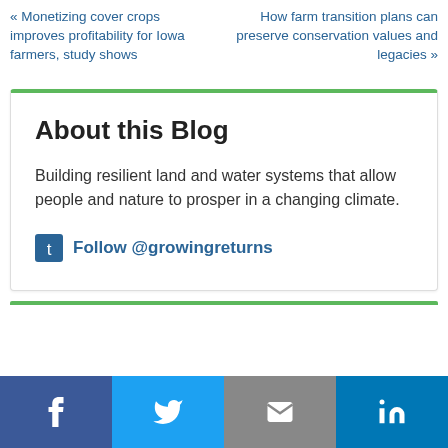« Monetizing cover crops improves profitability for Iowa farmers, study shows
How farm transition plans can preserve conservation values and legacies »
About this Blog
Building resilient land and water systems that allow people and nature to prosper in a changing climate.
Follow @growingreturns
[Figure (other): Green top-border partial box at bottom of page]
[Figure (infographic): Social share bar with Facebook, Twitter, Email, and LinkedIn buttons at the bottom of the page]